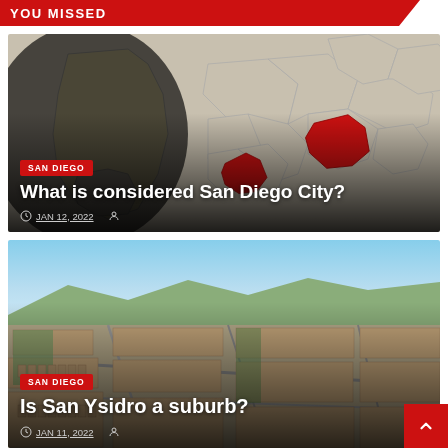YOU MISSED
[Figure (map): Map of California/San Diego region with San Diego City highlighted in red]
SAN DIEGO
What is considered San Diego City?
JAN 12, 2022
[Figure (photo): Aerial photograph of San Ysidro suburban neighborhood in San Diego]
SAN DIEGO
Is San Ysidro a suburb?
JAN 11, 2022